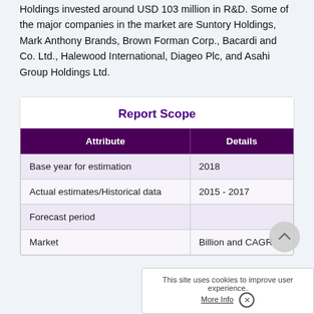Holdings invested around USD 103 million in R&D. Some of the major companies in the market are Suntory Holdings, Mark Anthony Brands, Brown Forman Corp., Bacardi and Co. Ltd., Halewood International, Diageo Plc, and Asahi Group Holdings Ltd.
| Attribute | Details |
| --- | --- |
| Base year for estimation | 2018 |
| Actual estimates/Historical data | 2015 - 2017 |
| Forecast period |  |
| Market | Billion and CAGR |